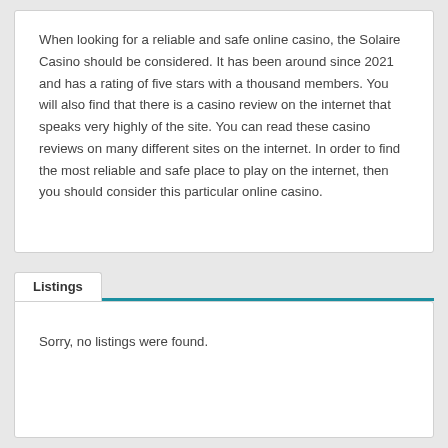When looking for a reliable and safe online casino, the Solaire Casino should be considered. It has been around since 2021 and has a rating of five stars with a thousand members. You will also find that there is a casino review on the internet that speaks very highly of the site. You can read these casino reviews on many different sites on the internet. In order to find the most reliable and safe place to play on the internet, then you should consider this particular online casino.
Listings
Sorry, no listings were found.